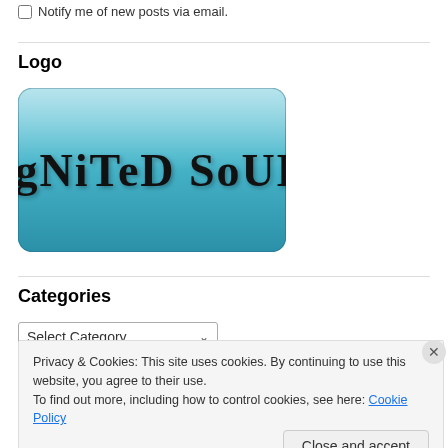Notify me of new posts via email.
Logo
[Figure (logo): Ignited Soul logo — teal rounded rectangle with handwritten black script text reading 'IgNiTeD SoUL']
Categories
Select Category (dropdown)
Privacy & Cookies: This site uses cookies. By continuing to use this website, you agree to their use.
To find out more, including how to control cookies, see here: Cookie Policy
Close and accept